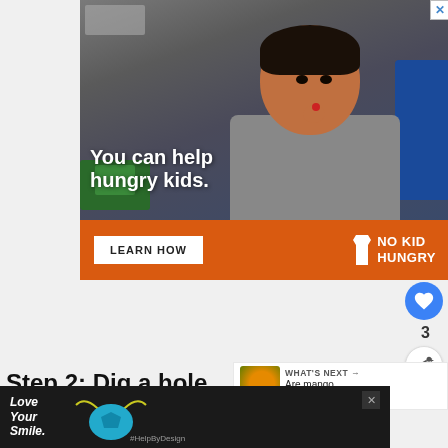[Figure (photo): Advertisement banner for No Kid Hungry. Shows a young boy eating in a classroom with text 'You can help hungry kids.' and a 'LEARN HOW' button. Orange bottom bar with No Kid Hungry logo.]
Step 2: Dig a hole the depth of ball and at least twice as wide.
[Figure (photo): Bottom advertisement for Love Your Smile dental brand with mask graphic and #HelpByDesign hashtag on dark background.]